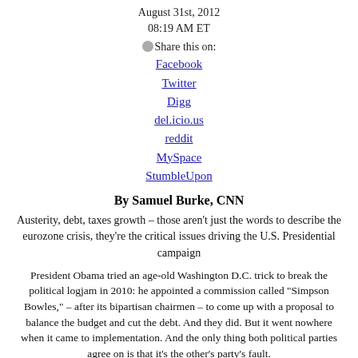August 31st, 2012
08:19 AM ET
Share this on:
Facebook
Twitter
Digg
del.icio.us
reddit
MySpace
StumbleUpon
By Samuel Burke, CNN
Austerity, debt, taxes growth – those aren't just the words to describe the eurozone crisis, they're the critical issues driving the U.S. Presidential campaign
President Obama tried an age-old Washington D.C. trick to break the political logjam in 2010: he appointed a commission called "Simpson Bowles," – after its bipartisan chairmen – to come up with a proposal to balance the budget and cut the debt. And they did. But it went nowhere when it came to implementation. And the only thing both political parties agree on is that it's the other's party's fault.
On Wednesday night, Republican Vice Presidential candidate Paul